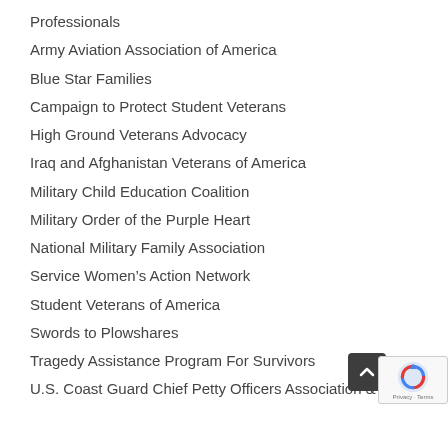Professionals
Army Aviation Association of America
Blue Star Families
Campaign to Protect Student Veterans
High Ground Veterans Advocacy
Iraq and Afghanistan Veterans of America
Military Child Education Coalition
Military Order of the Purple Heart
National Military Family Association
Service Women’s Action Network
Student Veterans of America
Swords to Plowshares
Tragedy Assistance Program For Survivors
U.S. Coast Guard Chief Petty Officers Association &